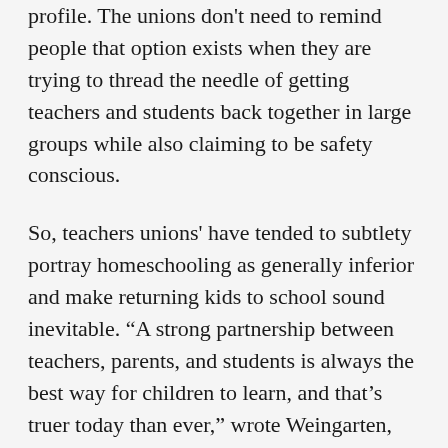profile. The unions don't need to remind people that option exists when they are trying to thread the needle of getting teachers and students back together in large groups while also claiming to be safety conscious.
So, teachers unions' have tended to subtlety portray homeschooling as generally inferior and make returning kids to school sound inevitable. “A strong partnership between teachers, parents, and students is always the best way for children to learn, and that’s truer today than ever,” wrote Weingarten,  NEA President Lily Eskelsen García, and Jill Biden in an April op-ed column for CNN. “As we adjust to this moment, we have to also remember that our schools will reopen. When they do, they must have the tools and he ...